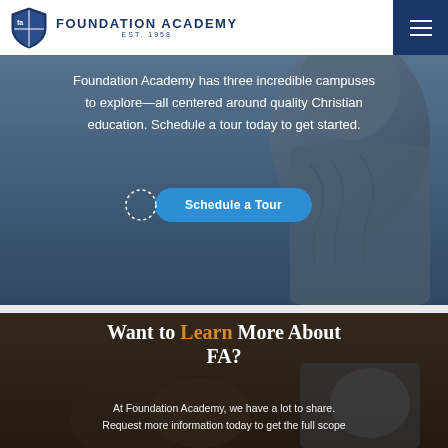[Figure (screenshot): Foundation Academy logo with shield icon and text 'FOUNDATION ACADEMY EST. 1958' in navy blue]
Foundation Academy has three incredible campuses to explore—all centered around quality Christian education. Schedule a tour today to get started.
Schedule a Tour
[Figure (photo): Stone statue close-up in blue-gray tones forming background of top section]
Want to Learn More About FA?
At Foundation Academy, we have a lot to share. Request more information today to get the full scope
[Figure (photo): Classroom or school interior with students, dark-toned background for bottom section]